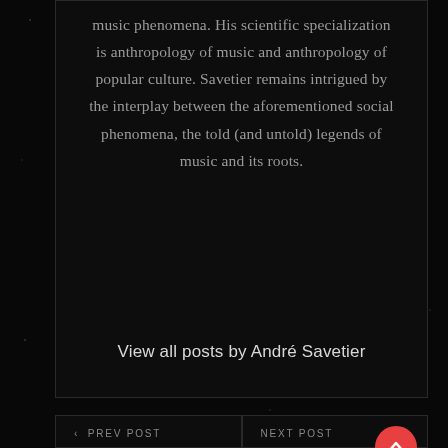music phenomena. His scientific specialization is anthropology of music and anthropology of popular culture. Savetier remains intrigued by the interplay between the aforementioned social phenomena, the told (and untold) legends of music and its roots.
View all posts by André Savetier
< PREV POST — Rockscape 2016 | NEXT POST — Savetier's New Wave Journey